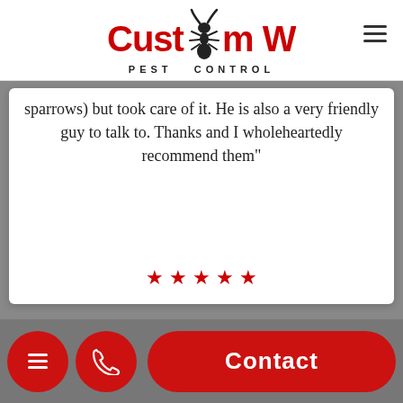[Figure (logo): Custom West Pest Control logo with red bold text and ant silhouette]
sparrows) but took care of it. He is also a very friendly guy to talk to. Thanks and I wholeheartedly recommend them"
[Figure (other): Five red star rating icons]
[Figure (other): Bottom navigation bar with hamburger menu button, phone button, and Contact button]